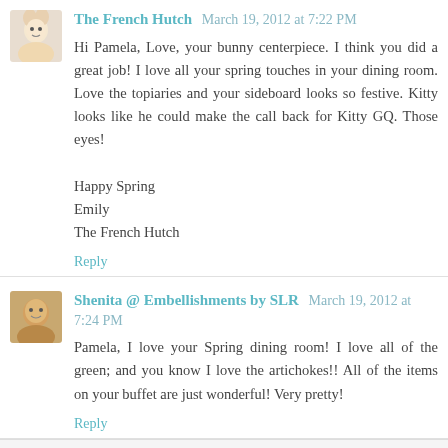The French Hutch  March 19, 2012 at 7:22 PM
Hi Pamela, Love, your bunny centerpiece. I think you did a great job! I love all your spring touches in your dining room. Love the topiaries and your sideboard looks so festive. Kitty looks like he could make the call back for Kitty GQ. Those eyes!

Happy Spring
Emily
The French Hutch
Reply
Shenita @ Embellishments by SLR  March 19, 2012 at 7:24 PM
Pamela, I love your Spring dining room! I love all of the green; and you know I love the artichokes!! All of the items on your buffet are just wonderful! Very pretty!
Reply
Dee ★★★★★  March 19, 2012 at 7:40 PM